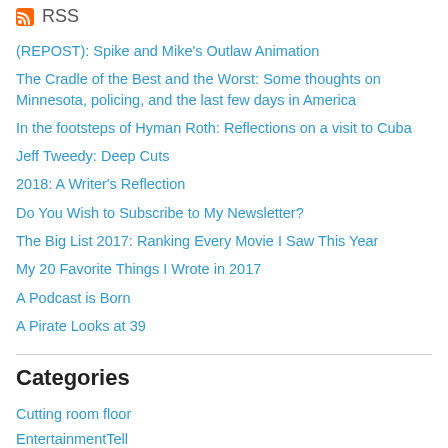RSS
(REPOST): Spike and Mike's Outlaw Animation
The Cradle of the Best and the Worst: Some thoughts on Minnesota, policing, and the last few days in America
In the footsteps of Hyman Roth: Reflections on a visit to Cuba
Jeff Tweedy: Deep Cuts
2018: A Writer's Reflection
Do You Wish to Subscribe to My Newsletter?
The Big List 2017: Ranking Every Movie I Saw This Year
My 20 Favorite Things I Wrote in 2017
A Podcast is Born
A Pirate Looks at 39
Categories
Cutting room floor
EntertainmentTell
Home news
Joe Paterno